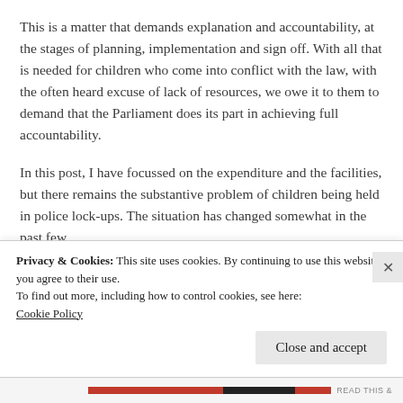This is a matter that demands explanation and accountability, at the stages of planning, implementation and sign off. With all that is needed for children who come into conflict with the law, with the often heard excuse of lack of resources, we owe it to them to demand that the Parliament does its part in achieving full accountability.
In this post, I have focussed on the expenditure and the facilities, but there remains the substantive problem of children being held in police lock-ups. The situation has changed somewhat in the past few
Privacy & Cookies: This site uses cookies. By continuing to use this website, you agree to their use.
To find out more, including how to control cookies, see here:
Cookie Policy